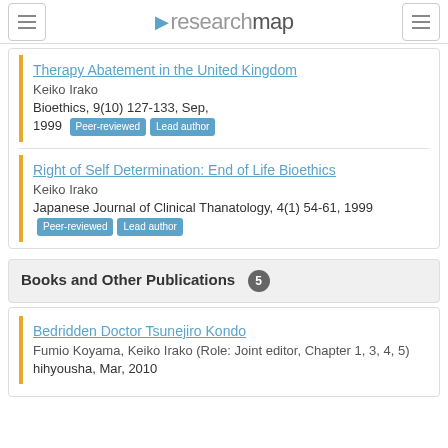researchmap
Therapy Abatement in the United Kingdom
Keiko Irako
Bioethics, 9(10) 127-133, Sep, 1999 [Peer-reviewed] [Lead author]
Right of Self Determination: End of Life Bioethics
Keiko Irako
Japanese Journal of Clinical Thanatology, 4(1) 54-61, 1999 [Peer-reviewed] [Lead author]
Books and Other Publications 5
Bedridden Doctor Tsunejiro Kondo
Fumio Koyama, Keiko Irako (Role: Joint editor, Chapter 1, 3, 4, 5)
hihyousha, Mar, 2010